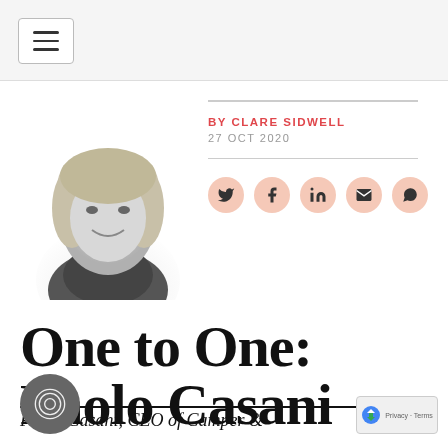Navigation menu
[Figure (photo): Black and white headshot photo of Clare Sidwell, a woman with long blonde hair, smiling]
BY CLARE SIDWELL
27 OCT 2020
[Figure (infographic): Social sharing icons: Twitter, Facebook, LinkedIn, Email, WhatsApp]
One to One: Paolo Casani
Paolo Casani, CEO of Camper &